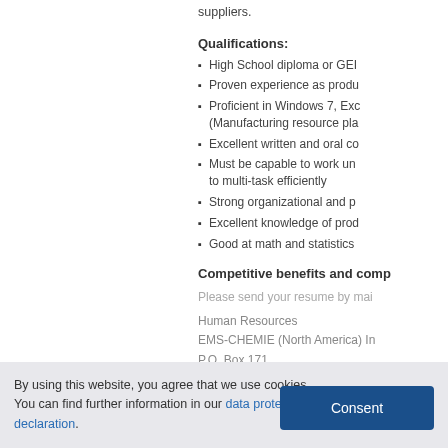suppliers.
Qualifications:
High School diploma or GEI
Proven experience as produ
Proficient in Windows 7, Exc (Manufacturing resource pla
Excellent written and oral co
Must be capable to work un to multi-task efficiently
Strong organizational and p
Excellent knowledge of prod
Good at math and statistics
Competitive benefits and comp
Please send your resume by mai
Human Resources
EMS-CHEMIE (North America) In
P.O. Box 171
Sumter, SC 29151-1717
By using this website, you agree that we use cookies.
You can find further information in our data protection declaration.